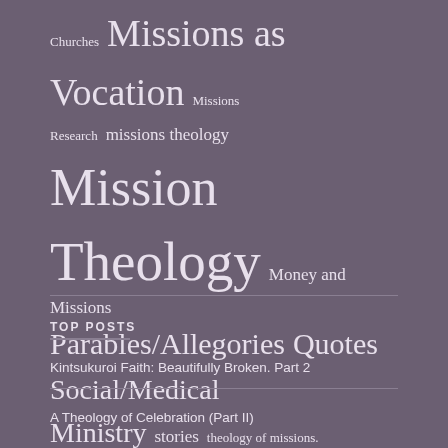Churches Missions as Vocation Missions Research missions theology Mission Theology Money and Missions Parables/Allegories Quotes Social/Medical Ministry stories theology of missions. Uncategorized
TOP POSTS
Kintsukuroi Faith: Beautifully Broken. Part 2
A Theology of Celebration (Part II)